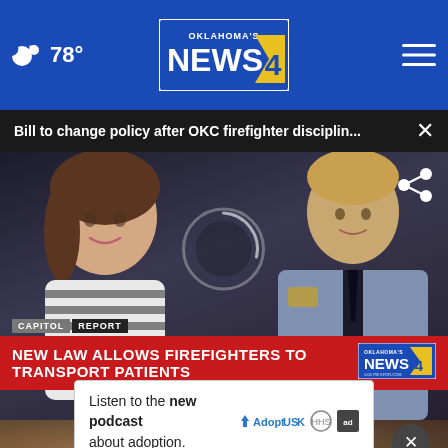78° | Oklahoma's News 4
Bill to change policy after OKC firefighter disciplin...
[Figure (screenshot): News broadcast screenshot showing a young girl in striped shirt and a firefighter in uniform, with lower-third graphic reading 'NEW LAW ALLOWS FIREFIGHTERS TO TRANSPORT PATIENTS' on a red bar with Capitol Report tag and Oklahoma's News 4 logo]
Listen to the new podcast about adoption.